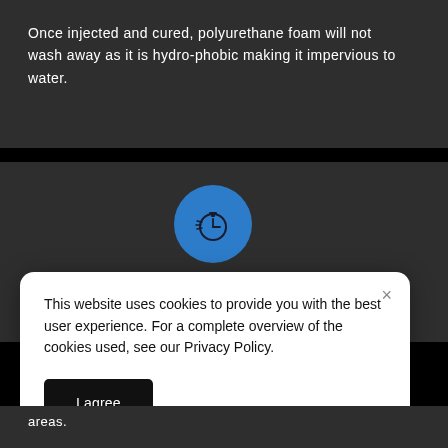Once injected and cured, polyurethane foam will not wash away as it is hydro-phobic making it impervious to water.
[Figure (illustration): Blue circle with a stopwatch/timer icon in dark outline on a dark grey background panel]
This website uses cookies to provide you with the best user experience. For a complete overview of the cookies used, see our Privacy Policy.
I agree
areas.